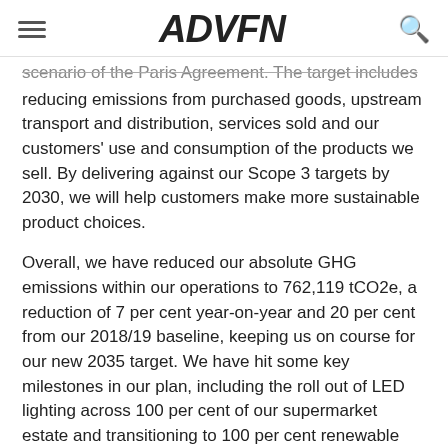ADVFN
scenario of the Paris Agreement. The target includes reducing emissions from purchased goods, upstream transport and distribution, services sold and our customers' use and consumption of the products we sell. By delivering against our Scope 3 targets by 2030, we will help customers make more sustainable product choices.
Overall, we have reduced our absolute GHG emissions within our operations to 762,119 tCO2e, a reduction of 7 per cent year-on-year and 20 per cent from our 2018/19 baseline, keeping us on course for our new 2035 target. We have hit some key milestones in our plan, including the roll out of LED lighting across 100 per cent of our supermarket estate and transitioning to 100 per cent renewable electricity. We have also committed to the long-term purchasing of renewable energy from new wind farms and solar projects, significantly reducing our reliance on